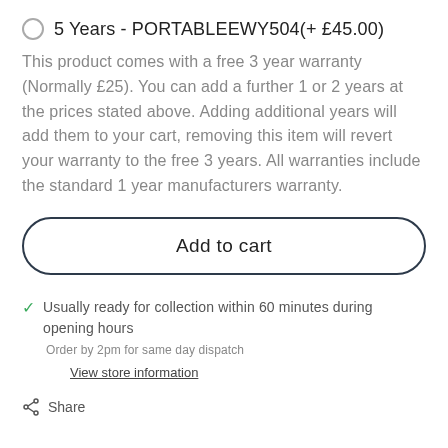5 Years - PORTABLEEWY504(+ £45.00)
This product comes with a free 3 year warranty (Normally £25). You can add a further 1 or 2 years at the prices stated above. Adding additional years will add them to your cart, removing this item will revert your warranty to the free 3 years. All warranties include the standard 1 year manufacturers warranty.
Add to cart
Usually ready for collection within 60 minutes during opening hours
Order by 2pm for same day dispatch
View store information
Share